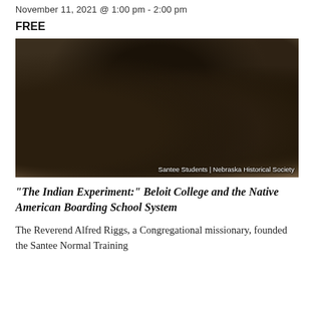November 11, 2021 @ 1:00 pm - 2:00 pm
FREE
[Figure (photo): Sepia-toned historical photograph of six Native American students, five men and one woman, posed together outdoors in formal attire. Caption reads: Santee Students | Nebraska Historical Society]
Santee Students | Nebraska Historical Society
“The Indian Experiment:” Beloit College and the Native American Boarding School System
The Reverend Alfred Riggs, a Congregational missionary, founded the Santee Normal Training